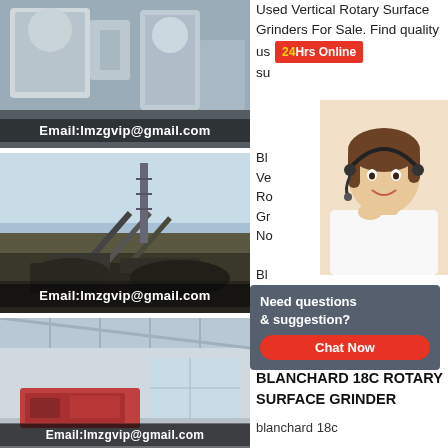[Figure (photo): Industrial machinery/grinder equipment in a facility, with email overlay]
Email:lmzgvip@gmail.com
[Figure (photo): Outdoor mining/crushing plant equipment with conveyors, with email overlay]
Email:lmzgvip@gmail.com
[Figure (photo): Indoor industrial facility/workshop with machinery, with email overlay]
Email:lmzgvip@gmail.com
Used Vertical Rotary Surface Grinders For Sale. Find quality used vertical rotary surface grinder Blanchard Vertical Rotary Surface Grinder No. Blanchard Vertical Rotary Surface Grinder
[Figure (infographic): 24Hrs Online red badge with support agent photo]
[Figure (infographic): Need questions & suggestion? Chat Now widget]
BLANCHARD 18C BLANCHARD 18C ROTARY SURFACE GRINDER
blanchard 18c
blanchard 18c rotary